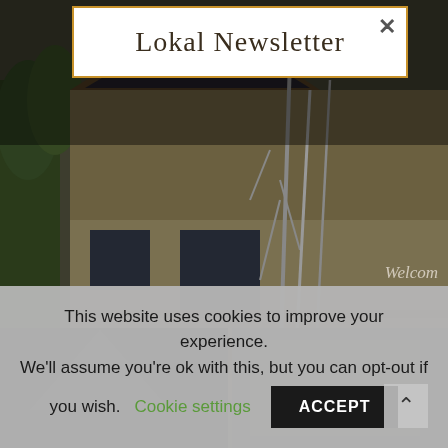Lokal Newsletter
[Figure (photo): Exterior photo of an A-frame style house/cabin surrounded by trees, with a wooden deck, and a 'Welcome' sign visible on the right side. Two smaller images visible at bottom.]
Welcome
This website uses cookies to improve your experience. We'll assume you're ok with this, but you can opt-out if you wish. Cookie settings ACCEPT